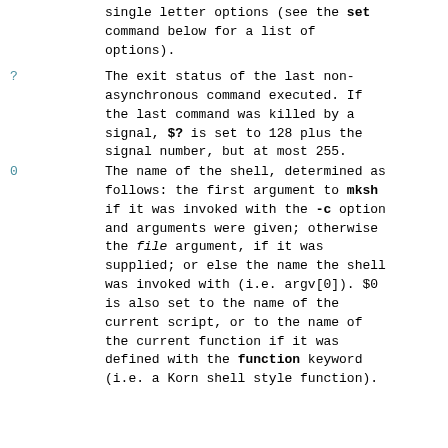single letter options (see the set command below for a list of options).
?
The exit status of the last non-asynchronous command executed. If the last command was killed by a signal, $? is set to 128 plus the signal number, but at most 255.
0
The name of the shell, determined as follows: the first argument to mksh if it was invoked with the -c option and arguments were given; otherwise the file argument, if it was supplied; or else the name the shell was invoked with (i.e. argv[0]). $0 is also set to the name of the current script, or to the name of the current function if it was defined with the function keyword (i.e. a Korn shell style function).